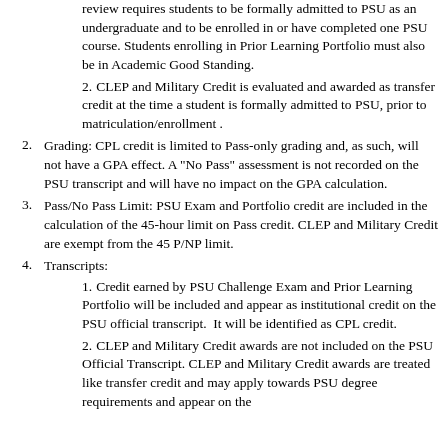(continuation) review requires students to be formally admitted to PSU as an undergraduate and to be enrolled in or have completed one PSU course. Students enrolling in Prior Learning Portfolio must also be in Academic Good Standing.
2. CLEP and Military Credit is evaluated and awarded as transfer credit at the time a student is formally admitted to PSU, prior to matriculation/enrollment .
2. Grading: CPL credit is limited to Pass-only grading and, as such, will not have a GPA effect. A "No Pass" assessment is not recorded on the PSU transcript and will have no impact on the GPA calculation.
3. Pass/No Pass Limit: PSU Exam and Portfolio credit are included in the calculation of the 45-hour limit on Pass credit. CLEP and Military Credit are exempt from the 45 P/NP limit.
4. Transcripts:
1. Credit earned by PSU Challenge Exam and Prior Learning Portfolio will be included and appear as institutional credit on the PSU official transcript.  It will be identified as CPL credit.
2. CLEP and Military Credit awards are not included on the PSU Official Transcript. CLEP and Military Credit awards are treated like transfer credit and may apply towards PSU degree requirements and appear on the